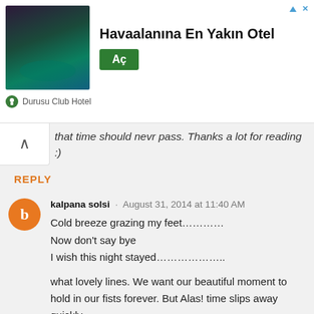[Figure (screenshot): Advertisement banner for Durusu Club Hotel showing 'Havaalanına En Yakın Otel' with a green 'Aç' button and hotel image]
that time should nevr pass. Thanks a lot for reading :)
REPLY
kalpana solsi · August 31, 2014 at 11:40 AM
Cold breeze grazing my feet…………
Now don't say bye
I wish this night stayed………………..
what lovely lines. We want our beautiful moment to hold in our fists forever. But Alas! time slips away quickly.
Saurabh Chawla
August 31, 2014 at 1:55 PM